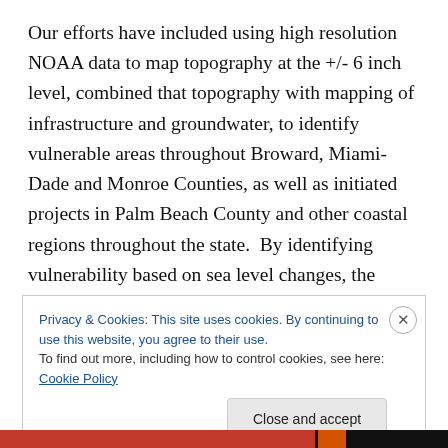Our efforts have included using high resolution NOAA data to map topography at the +/- 6 inch level, combined that topography with mapping of infrastructure and groundwater, to identify vulnerable areas throughout Broward, Miami-Dade and Monroe Counties, as well as initiated projects in Palm Beach County and other coastal regions throughout the state.  By identifying vulnerability based on sea level changes, the timing and tools for adaptation can be designed and funded to insure a “no-regrets” strategy that neither accelerates nor delays
Privacy & Cookies: This site uses cookies. By continuing to use this website, you agree to their use.
To find out more, including how to control cookies, see here: Cookie Policy